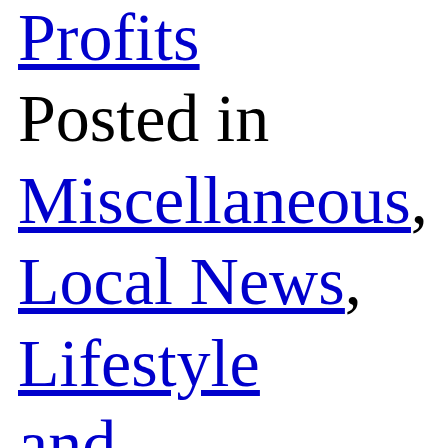Profits
Posted in
Miscellaneous, Local News, Lifestyle and